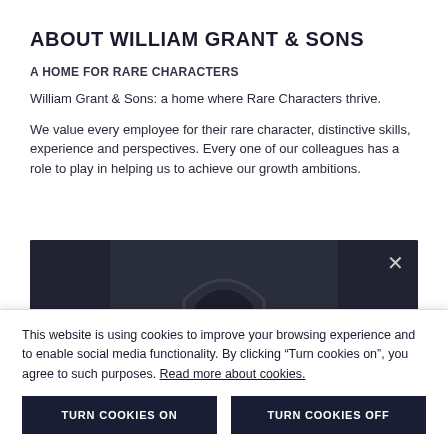ABOUT WILLIAM GRANT & SONS
A HOME FOR RARE CHARACTERS
William Grant & Sons: a home where Rare Characters thrive.
We value every employee for their rare character, distinctive skills, experience and perspectives. Every one of our colleagues has a role to play in helping us to achieve our growth ambitions.
[Figure (photo): Dark interior photo showing an arched doorway or gate with an ornate golden crest/emblem visible, with a close (×) button in the top right corner.]
This website is using cookies to improve your browsing experience and to enable social media functionality. By clicking “Turn cookies on”, you agree to such purposes. Read more about cookies.
TURN COOKIES ON
TURN COOKIES OFF